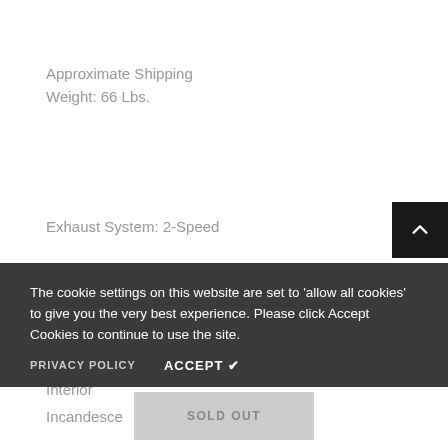Approximate Shipping Weight: 66 Lbs.
Exhaust System: 2-Speed
The cookie settings on this website are set to 'allow all cookies' to give you the very best experience. Please click Accept Cookies to continue to use the site.
PRIVACY POLICY
ACCEPT ✔
Interior
Incandesce
SOLD OUT